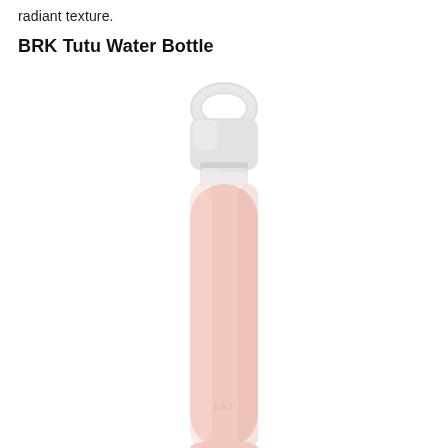radiant texture.
BRK Tutu Water Bottle
[Figure (photo): A BRK Tutu water bottle with a pale blush pink silicone sleeve and a translucent white/frosted cap with a loop handle. The bottle tapers toward the top with a glass body visible near the neck. The 'bkr' logo is subtly embossed near the bottom of the silicone sleeve. The bottle is photographed against a white background.]